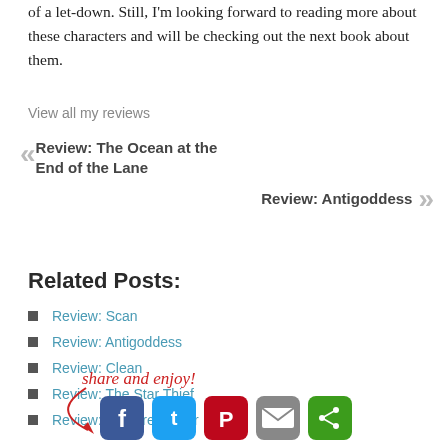of a let-down. Still, I'm looking forward to reading more about these characters and will be checking out the next book about them.
View all my reviews
« Review: The Ocean at the End of the Lane
Review: Antigoddess »
Related Posts:
Review: Scan
Review: Antigoddess
Review: Clean
Review: The Star Thief
Review: Sorcerer's Heir
[Figure (illustration): Share and enjoy! text in red handwritten style with arrow and social media icons for Facebook, Twitter, Pinterest, Email, and ShareThis]